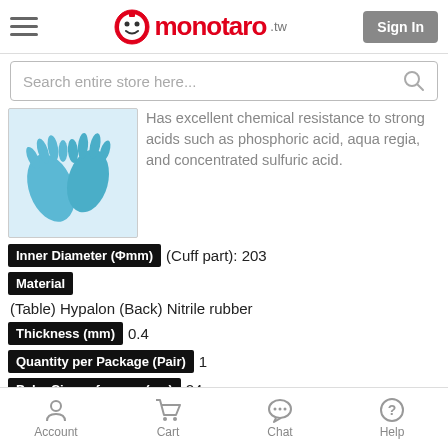monotaro.tw Sign In
Search entire store here...
[Figure (photo): Blue Hypalon/Nitrile rubber gloves product photo]
Has excellent chemical resistance to strong acids such as phosphoric acid, aqua regia, and concentrated sulfuric acid.
Inner Diameter (Φmm) (Cuff part): 203
Material
(Table) Hypalon (Back) Nitrile rubber
Thickness (mm) 0.4
Quantity per Package (Pair) 1
Palm Circumference (cm) 24
Middle Finger Length (cm) 7.9
Port diameter (inch) 8
Account  Cart  Chat  Help